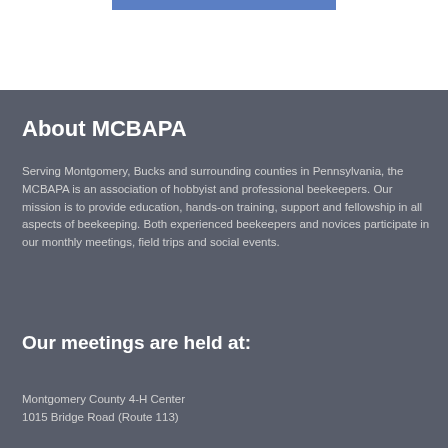About MCBAPA
Serving Montgomery, Bucks and surrounding counties in Pennsylvania, the MCBAPA is an association of hobbyist and professional beekeepers. Our mission is to provide education, hands-on training, support and fellowship in all aspects of beekeeping. Both experienced beekeepers and novices participate in our monthly meetings, field trips and social events.
Our meetings are held at:
Montgomery County 4-H Center
1015 Bridge Road (Route 113)